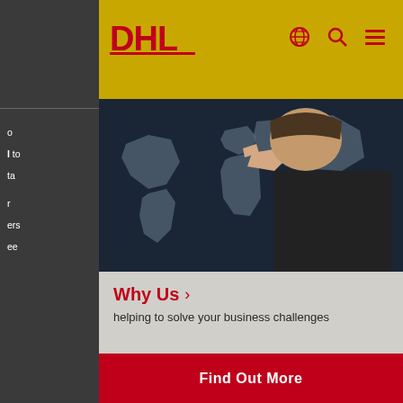[Figure (logo): DHL logo in red on yellow background navigation bar]
[Figure (photo): Person pointing at a world map displayed on a dark globe background]
Why Us >
helping to solve your business challenges
Find Out More